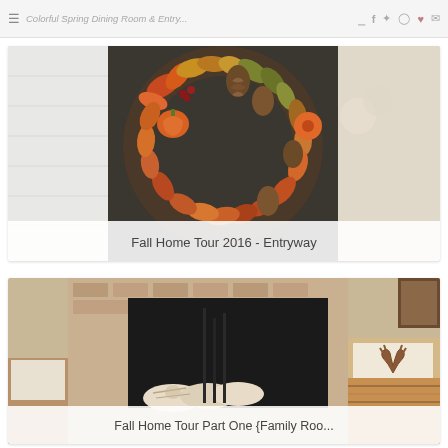Colorful Spring Dining Room & Entry...
[Figure (photo): Fall autumn wreath with pine cones, pumpkins, orange flowers, and fall leaves on a dark background, with caption overlay 'Fall Home Tour 2016 - Entryway']
Fall Home Tour 2016 - Entryway
[Figure (photo): Fireplace with birch logs, cozy living room with antler pillow, striped blanket, brick surround, and dark fireplace insert, with caption overlay 'Fall Home Tour Part One {Family Roo...']
Fall Home Tour Part One {Family Roo...